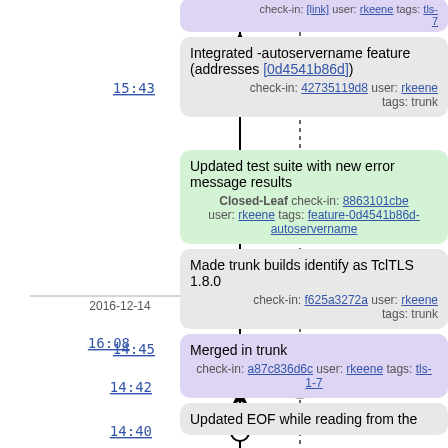[Figure (flowchart): Version control timeline with branching commit nodes, timestamps, and dotted branch line]
check-in: [link] user: rkeene tags: tls-1-7
Integrated -autoservername feature (addresses [0d4541b86d])
check-in: 42735119d8 user: rkeene tags: trunk
2016-12-14
16:08
Updated test suite with new error message results
Closed-Leaf check-in: 8863101cbe user: rkeene tags: feature-0d4541b86d-autoservername
14:45
Made trunk builds identify as TclTLS 1.8.0
check-in: f625a3272a user: rkeene tags: trunk
14:42
Merged in trunk
check-in: a87c836d6c user: rkeene tags: tls-1-7
14:40
Updated EOF while reading from the